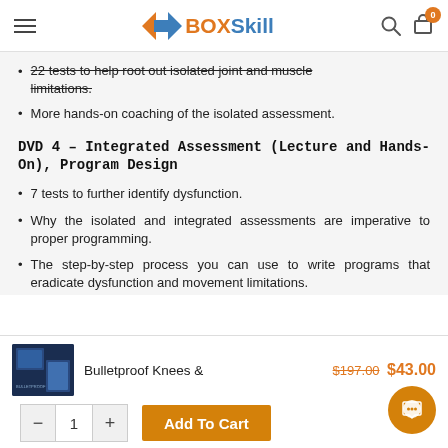BOXSkill
22 tests to help root out isolated joint and muscle limitations.
More hands-on coaching of the isolated assessment.
DVD 4 – Integrated Assessment (Lecture and Hands-On), Program Design
7 tests to further identify dysfunction.
Why the isolated and integrated assessments are imperative to proper programming.
The step-by-step process you can use to write programs that eradicate dysfunction and movement limitations.
Bulletproof Knees &  $197.00 $43.00
- 1 + Add To Cart